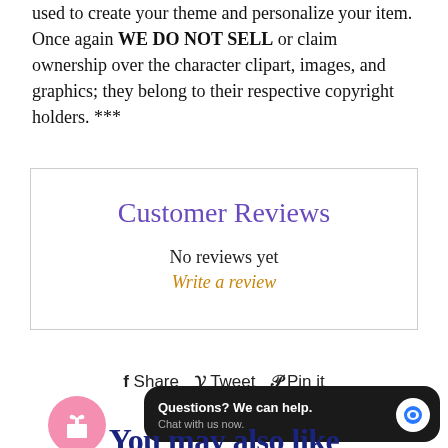used to create your theme and personalize your item. Once again WE DO NOT SELL or claim ownership over the character clipart, images, and graphics; they belong to their respective copyright holders. ***
Customer Reviews
No reviews yet
Write a review
Share   Tweet   Pin it
[Figure (other): Pink gift/present icon circle button]
Questions? We can help. Chat with us now.
You may also like